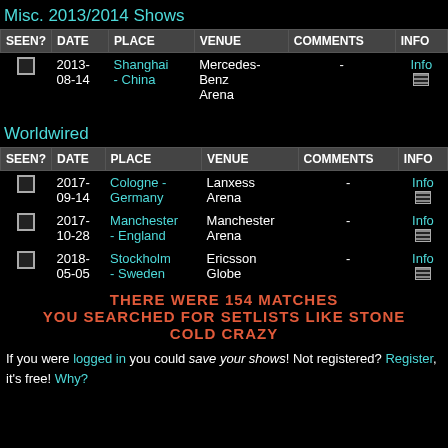Misc. 2013/2014 Shows
| SEEN? | DATE | PLACE | VENUE | COMMENTS | INFO |
| --- | --- | --- | --- | --- | --- |
| ☐ | 2013-08-14 | Shanghai - China | Mercedes-Benz Arena | - | Info |
Worldwired
| SEEN? | DATE | PLACE | VENUE | COMMENTS | INFO |
| --- | --- | --- | --- | --- | --- |
| ☐ | 2017-09-14 | Cologne - Germany | Lanxess Arena | - | Info |
| ☐ | 2017-10-28 | Manchester - England | Manchester Arena | - | Info |
| ☐ | 2018-05-05 | Stockholm - Sweden | Ericsson Globe | - | Info |
THERE WERE 154 MATCHES YOU SEARCHED FOR SETLISTS LIKE STONE COLD CRAZY
If you were logged in you could save your shows! Not registered? Register, it's free! Why?